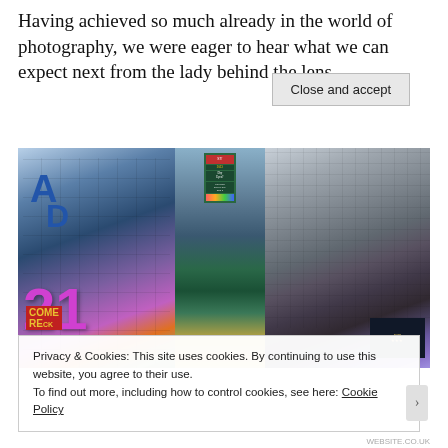Having achieved so much already in the world of photography, we were eager to hear what we can expect next from the lady behind the lens.
[Figure (photo): A collage of three urban street photos showing Times Square-style billboards and skyscrapers. Left panel shows large colorful signs including a purple '21' numeral and blue letters. Middle panel shows a tall green digital billboard tower with multiple advertisement screens. Right panel shows tall buildings with a dark illuminated billboard.]
Privacy & Cookies: This site uses cookies. By continuing to use this website, you agree to their use.
To find out more, including how to control cookies, see here: Cookie Policy
Close and accept